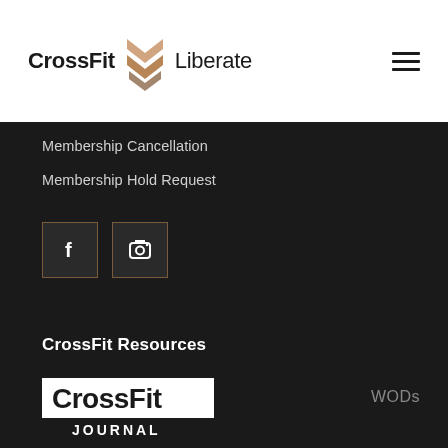[Figure (logo): CrossFit Liberate logo with chevron/arrow icon in copper/bronze color, text reads CrossFit Liberate]
Membership Cancellation
Membership Hold Request
[Figure (infographic): Social media icons: Facebook (f) and Instagram (camera) buttons with dark background and copper border]
CrossFit Resources
[Figure (logo): CrossFit Journal logo in white on dark background]
WODs